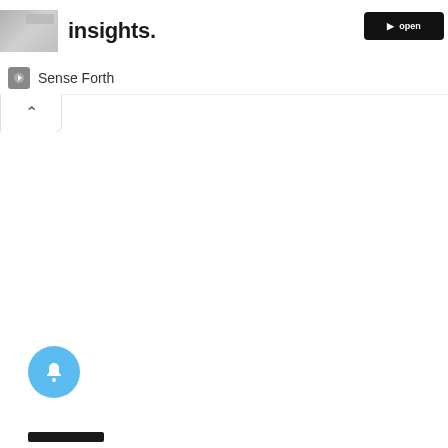[Figure (screenshot): Partial webpage screenshot showing a headline partial text 'insights.' in bold, a thumbnail image on the left, a black button on the right, a channel row with 'Sense Forth' label, a collapse chevron tab, a blue bell notification button, and a dark bottom bar.]
insights.
Sense Forth